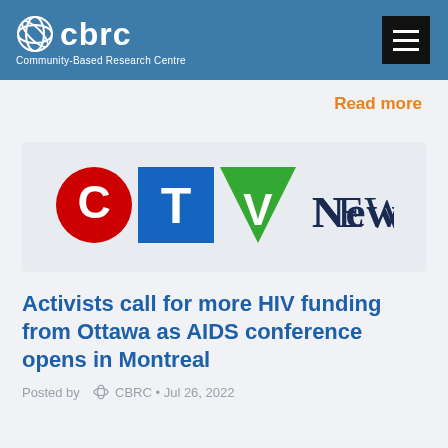cbrc Community-Based Research Centre
Read more
[Figure (logo): CTV News logo with red C circle, blue T square, green V triangle, and dark navy NEWS text]
Activists call for more HIV funding from Ottawa as AIDS conference opens in Montreal
Posted by  CBRC • Jul 26, 2022